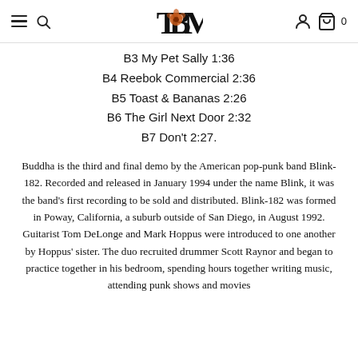TBM logo with navigation icons
B3 My Pet Sally 1:36
B4 Reebok Commercial 2:36
B5 Toast & Bananas 2:26
B6 The Girl Next Door 2:32
B7 Don't 2:27.
Buddha is the third and final demo by the American pop-punk band Blink-182. Recorded and released in January 1994 under the name Blink, it was the band's first recording to be sold and distributed. Blink-182 was formed in Poway, California, a suburb outside of San Diego, in August 1992. Guitarist Tom DeLonge and Mark Hoppus were introduced to one another by Hoppus' sister. The duo recruited drummer Scott Raynor and began to practice together in his bedroom, spending hours together writing music, attending punk shows and movies